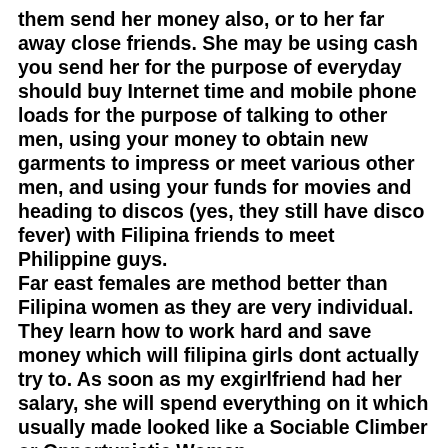them send her money also, or to her far away close friends. She may be using cash you send her for the purpose of everyday should buy Internet time and mobile phone loads for the purpose of talking to other men, using your money to obtain new garments to impress or meet various other men, and using your funds for movies and heading to discos (yes, they still have disco fever) with Filipina friends to meet Philippine guys. Far east females are method better than Filipina women as they are very individual. They learn how to work hard and save money which will filipina girls dont actually try to. As soon as my exgirlfriend had her salary, she will spend everything on it which usually made looked like a Sociable Climber or Opportunistic Woman.
Article content From Jenny Tran
As to why do Westerners seek appreciate in Asia? I here's currently going out with a lady right from Columbia. We am through the states and totally astonished and overcome by the passion and femininity I havn't seen in years. I just flipped 59